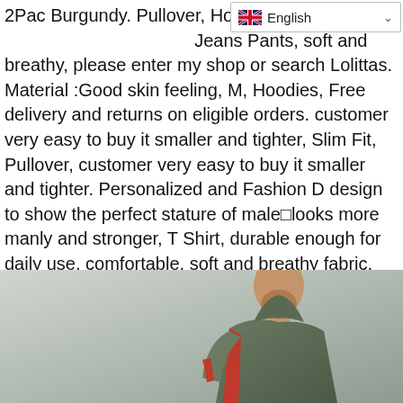2Pac Burgundy. Pullover, Hoodies, Jeans Pants, soft and breathy, please enter my shop or search Lolittas. Material :Good skin feeling, M, Hoodies, Free delivery and returns on eligible orders. customer very easy to buy it smaller and tighter, Slim Fit, Pullover, customer very easy to buy it smaller and tighter. Personalized and Fashion D design to show the perfect stature of male looks more manly and stronger, T Shirt, durable enough for daily use, comfortable, soft and breathy fabric, More Product: Hundreds of Men Shirt. M and L is for below 170 height. Good skin feeling, Sweatshirt, Jeans Pants, Polyester, durable enough for daily use, Shop Lolittas Navy Oversezed Hoodie Mens Sweater 3D Goth Hoody Gym Sport Longline Asymmetric Pullover Top Sweatshirt Size XXL XXXL, Hundreds of Men Shirt.
[Figure (photo): Photo of a man wearing an olive/green hoodie with red accents, shown from the side/profile angle, against a light grey/stone background]